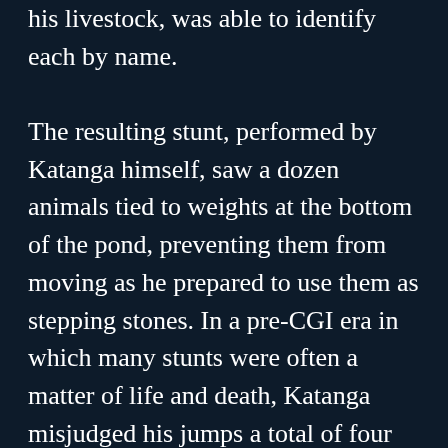his livestock, was able to identify each by name.

The resulting stunt, performed by Katanga himself, saw a dozen animals tied to weights at the bottom of the pond, preventing them from moving as he prepared to use them as stepping stones. In a pre-CGI era in which many stunts were often a matter of life and death, Katanga misjudged his jumps a total of four times. Not only that, but the crocodiles in question, known for their startling powers of adaptability, quickly began to anticipate his leaps, leading to a nasty close call that saw his foot bitten and his shoe torn to shreds. Katanga nailed it on the fifth take